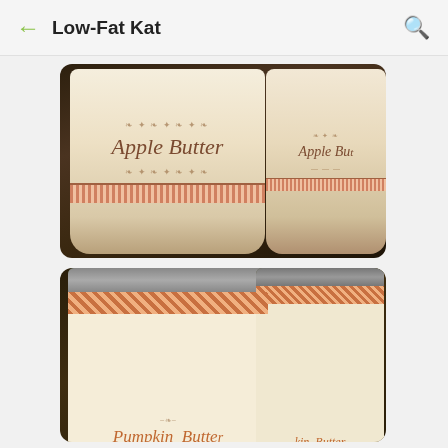Low-Fat Kat
[Figure (photo): Two glass jars with cream-colored labels reading 'Apple Butter' in cursive script, with decorative ornamental borders and pink striped ribbon at the bottom of the label]
[Figure (photo): Two glass jars with decorative labels featuring orange/red checkered borders and scalloped edges reading 'Pumpkin Butter' in cursive script]